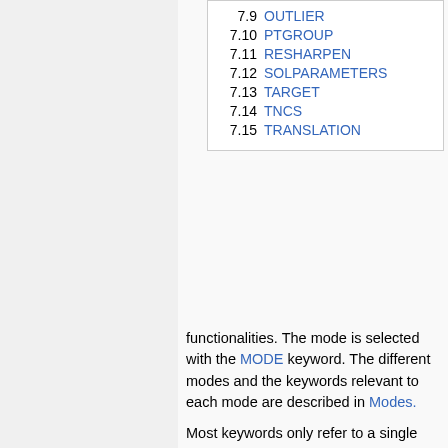| Number | Link |
| --- | --- |
| 7.9 | OUTLIER |
| 7.10 | PTGROUP |
| 7.11 | RESHARPEN |
| 7.12 | SOLPARAMETERS |
| 7.13 | TARGET |
| 7.14 | TNCS |
| 7.15 | TRANSLATION |
functionalities. The mode is selected with the MODE keyword. The different modes and the keywords relevant to each mode are described in Modes.
Most keywords only refer to a single parameter, and if used multiple times, the parameter will take the last value input. However, some keywords are meaningful when entered multiple times. The order may or may not be important.
Basic Keywords
Output Control Keywords